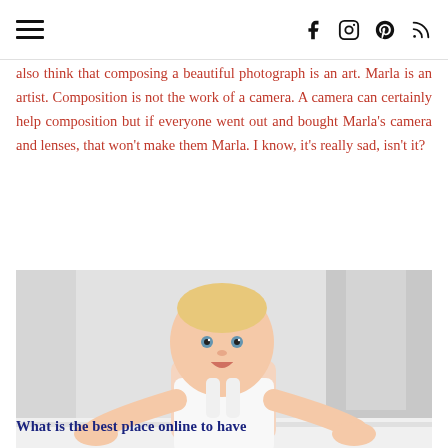≡  f  ⓘ   pinterest  rss
also think that composing a beautiful photograph is an art. Marla is an artist. Composition is not the work of a camera. A camera can certainly help composition but if everyone went out and bought Marla's camera and lenses, that won't make them Marla. I know, it's really sad, isn't it?
[Figure (photo): A smiling baby in a white sleeveless outfit leaning on a white surface, photographed in a bright white room.]
What is the best place online to have